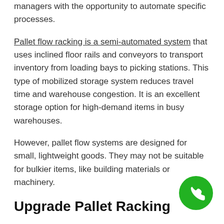managers with the opportunity to automate specific processes.
Pallet flow racking is a semi-automated system that uses inclined floor rails and conveyors to transport inventory from loading bays to picking stations. This type of mobilized storage system reduces travel time and warehouse congestion. It is an excellent storage option for high-demand items in busy warehouses.
However, pallet flow systems are designed for small, lightweight goods. They may not be suitable for bulkier items, like building materials or machinery.
Upgrade Pallet Racking
Pallet racking lays the foundation for your new
[Figure (other): Green circular phone/call button icon in bottom right corner]